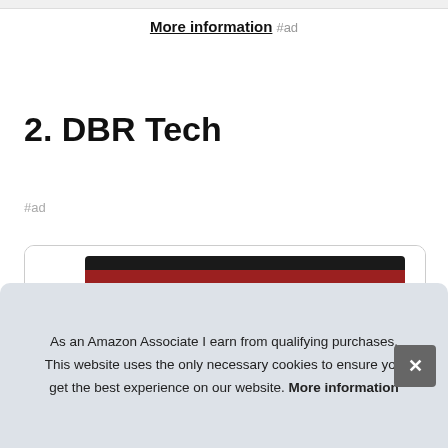More information #ad
2. DBR Tech
#ad
[Figure (photo): DBR Tech product box, red and black, with DBR TECH logo and ant graphic]
As an Amazon Associate I earn from qualifying purchases. This website uses the only necessary cookies to ensure you get the best experience on our website. More information